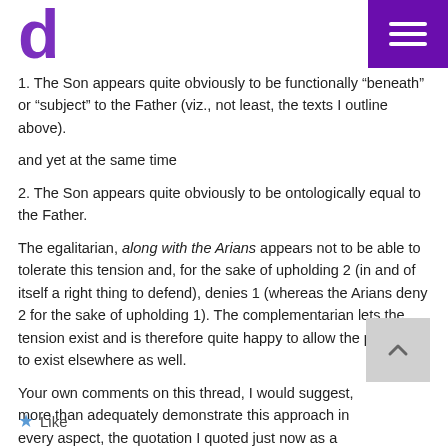d [logo] [hamburger menu]
1. The Son appears quite obviously to be functionally “beneath” or “subject” to the Father (viz., not least, the texts I outline above).
and yet at the same time
2. The Son appears quite obviously to be ontologically equal to the Father.
The egalitarian, along with the Arians appears not to be able to tolerate this tension and, for the sake of upholding 2 (in and of itself a right thing to defend), denies 1 (whereas the Arians deny 2 for the sake of upholding 1). The complementarian lets the tension exist and is therefore quite happy to allow the principle to exist elsewhere as well.
Your own comments on this thread, I would suggest, more than adequately demonstrate this approach in every aspect, the quotation I quoted just now as a prime example.
Like